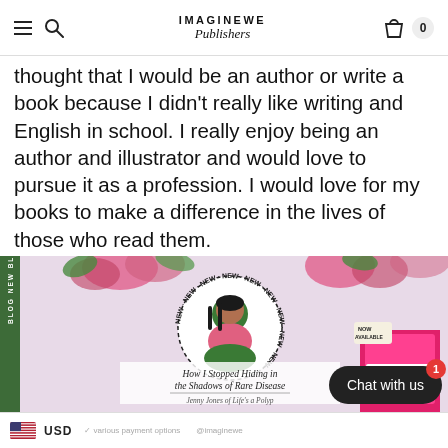IMAGINEWE Publishers — navigation bar with hamburger, search, logo, cart (0)
thought that I would be an author or write a book because I didn't really like writing and English in school. I really enjoy being an author and illustrator and would love to pursue it as a profession. I would love for my books to make a difference in the lives of those who read them.
[Figure (photo): Blog banner image for ImagineWe Publishers showing a woman in a pink shirt in a circular 'NEW' badge frame surrounded by pink floral decorations, with text 'How I Stopped Hiding in the Shadows of Rare Disease' by Jenny Jones of Life's a Polyp, with a pink book product visible on the right side. Vertical green sidebar reads 'BLOG NEW BLOG NEW BL'.]
USD — currency selector with US flag and payment icons